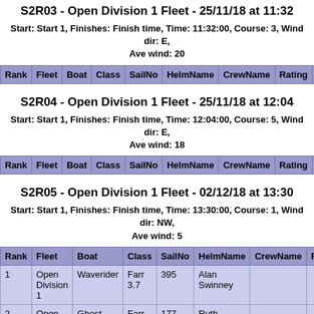S2R03 - Open Division 1 Fleet - 25/11/18 at 11:32
Start: Start 1, Finishes: Finish time, Time: 11:32:00, Course: 3, Wind dir: E, Ave wind: 20
| Rank | Fleet | Boat | Class | SailNo | HelmName | CrewName | Rating | Place | Po |
| --- | --- | --- | --- | --- | --- | --- | --- | --- | --- |
S2R04 - Open Division 1 Fleet - 25/11/18 at 12:04
Start: Start 1, Finishes: Finish time, Time: 12:04:00, Course: 5, Wind dir: E, Ave wind: 18
| Rank | Fleet | Boat | Class | SailNo | HelmName | CrewName | Rating | Place | Po |
| --- | --- | --- | --- | --- | --- | --- | --- | --- | --- |
S2R05 - Open Division 1 Fleet - 02/12/18 at 13:30
Start: Start 1, Finishes: Finish time, Time: 13:30:00, Course: 1, Wind dir: NW, Ave wind: 5
| Rank | Fleet | Boat | Class | SailNo | HelmName | CrewName | Rating | El |
| --- | --- | --- | --- | --- | --- | --- | --- | --- |
| 1 | Open Division 1 | Waverider | Farr 3.7 | 395 | Alan Swinney |  |  | 1:3 |
| 2 | Open Division 1 | Ghost | Farr 3.7 | 177 | Ruth Swinney |  |  | 1:4 |
S2R06 - Open Division 1 Fleet - 01/01/19 at 10:30